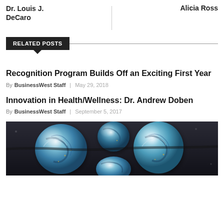Dr. Louis J. DeCaro
Alicia Ross
RELATED POSTS
Recognition Program Builds Off an Exciting First Year
By BusinessWest Staff | May 29, 2018
Innovation in Health/Wellness: Dr. Andrew Doben
By BusinessWest Staff | September 5, 2017
[Figure (photo): Close-up photo of blue and white decorative glass beads with swirling patterns]